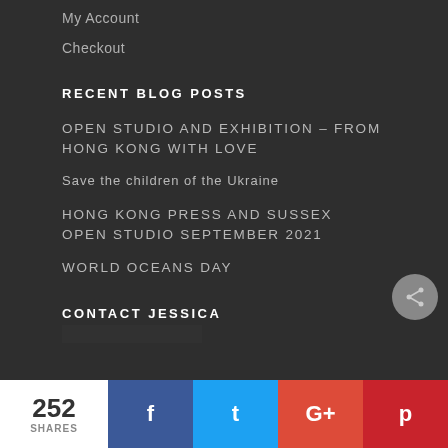My Account
Checkout
RECENT BLOG POSTS
OPEN STUDIO and EXHIBITION – from HONG KONG WITH LOVE
Save the children of the Ukraine
HONG KONG PRESS and SUSSEX OPEN STUDIO SEPTEMBER 2021
WORLD OCEANS DAY
CONTACT JESSICA
252 SHARES  f  t  G+  p